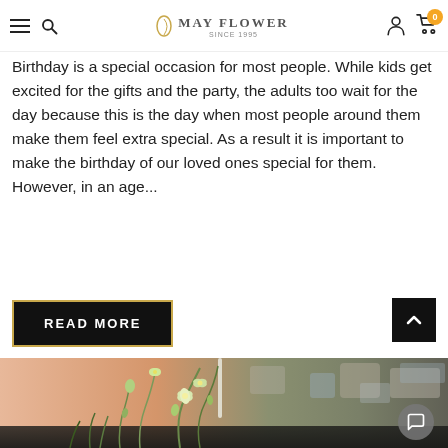MAY FLOWER — navigation bar with hamburger, search, logo, user, and cart (0)
Birthday is a special occasion for most people. While kids get excited for the gifts and the party, the adults too wait for the day because this is the day when most people around them make them feel extra special. As a result it is important to make the birthday of our loved ones special for them. However, in an age...
READ MORE
[Figure (photo): Close-up photo of white/yellow flowers (orchids) with a blurred warm-toned background of a shop interior with various items on shelves]